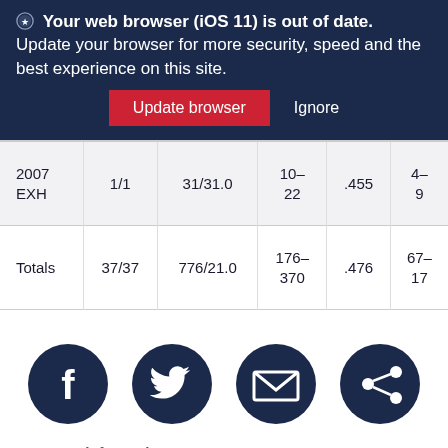Your web browser (iOS 11) is out of date. Update your browser for more security, speed and the best experience on this site. [Update browser] [Ignore]
| 2007 EXH | 1/1 | 31/31.0 | 10-22 | .455 | 4–9 |
| Totals | 37/37 | 776/21.0 | 176-370 | .476 | 67–17 |
[Figure (infographic): Row of four circular dark navy social sharing icons: Facebook, Twitter, Email, and Share/network icon]
For more information on...